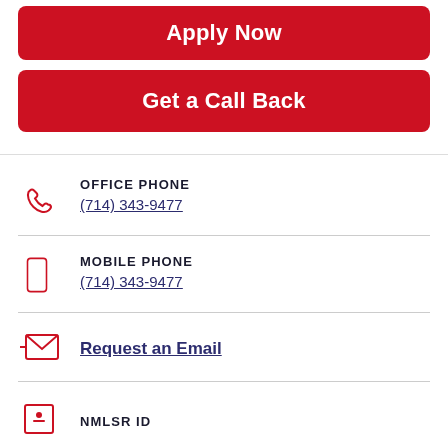[Figure (other): Red rounded button labeled Apply Now]
[Figure (other): Red rounded button labeled Get a Call Back]
OFFICE PHONE
(714) 343-9477
MOBILE PHONE
(714) 343-9477
Request an Email
NMLSR ID